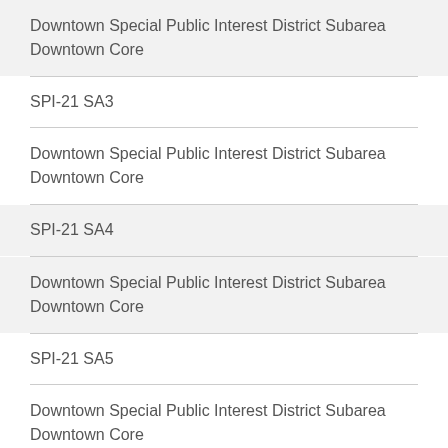Downtown Special Public Interest District Subarea Downtown Core
SPI-21 SA3
Downtown Special Public Interest District Subarea Downtown Core
SPI-21 SA4
Downtown Special Public Interest District Subarea Downtown Core
SPI-21 SA5
Downtown Special Public Interest District Subarea Downtown Core